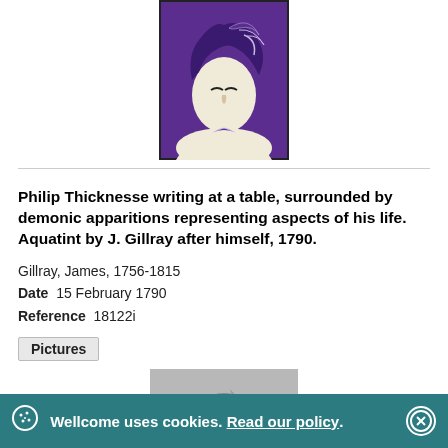[Figure (illustration): Purple painting of a stylized female figure with decorative hair, looking downward, on a purple background with white outlines]
Philip Thicknesse writing at a table, surrounded by demonic apparitions representing aspects of his life. Aquatint by J. Gillray after himself, 1790.
Gillray, James, 1756-1815
Date  15 February 1790
Reference  18122i
Pictures
[Figure (photo): Grayscale/black and white photograph or reproduction of a chaotic scene with figures and circular shapes]
Wellcome uses cookies. Read our policy